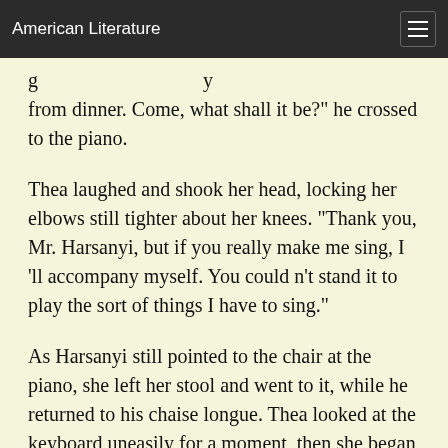American Literature
g y from dinner. Come, what shall it be?" he crossed to the piano.
Thea laughed and shook her head, locking her elbows still tighter about her knees. "Thank you, Mr. Harsanyi, but if you really make me sing, I 'll accompany myself. You could n't stand it to play the sort of things I have to sing."
As Harsanyi still pointed to the chair at the piano, she left her stool and went to it, while he returned to his chaise longue. Thea looked at the keyboard uneasily for a moment, then she began "Come, ye Disconsolate," the hymn Wunsch had always liked